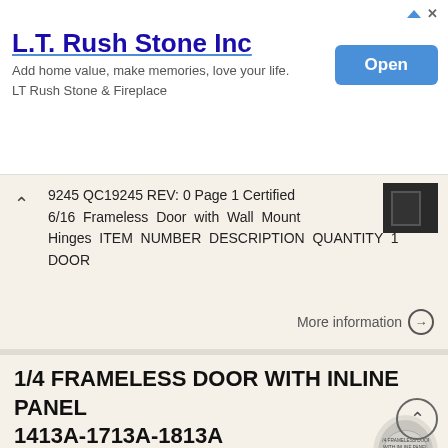L.T. Rush Stone Inc — Add home value, make memories, love your life. LT Rush Stone & Fireplace
9245 QC19245 REV: 0 Page 1 Certified 6/16 Frameless Door with Wall Mount Hinges ITEM NUMBER DESCRIPTION QUANTITY 1 DOOR
More information →
1/4 FRAMELESS DOOR WITH INLINE PANEL 1413A-1713A-1813A
1/4 FRAMELESS DOOR WITH INLINE PANEL 1413A-1713A-1813A F AB GLASS AND MIRROR www.fabglassandmirror.com Call: +1 888-474-2221 Fax: (614)-334-4919 Office Timing: 8:30-18:00 EST info@fabglassandmirror.com